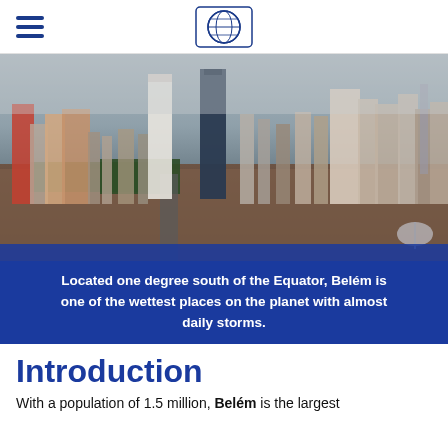[Figure (photo): Aerial view of Belém city skyline with tall buildings, dense urban neighborhoods, and overcast sky]
Located one degree south of the Equator, Belém is one of the wettest places on the planet with almost daily storms.
Introduction
With a population of 1.5 million, Belém is the largest